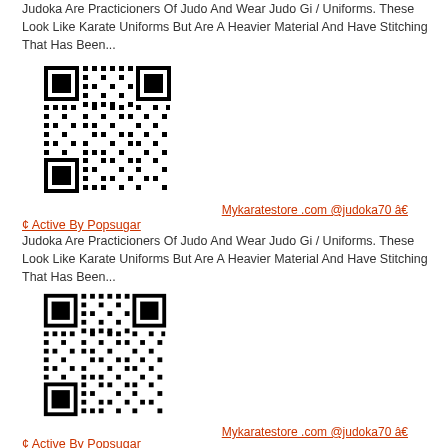Judoka Are Practicioners Of Judo And Wear Judo Gi / Uniforms. These Look Like Karate Uniforms But Are A Heavier Material And Have Stitching That Has Been...
[Figure (other): QR code image linking to Mykaratestore.com]
Mykaratestore .com @judoka70 â€
¢ Active By Popsugar
Judoka Are Practicioners Of Judo And Wear Judo Gi / Uniforms. These Look Like Karate Uniforms But Are A Heavier Material And Have Stitching That Has Been...
[Figure (other): QR code image linking to Mykaratestore.com]
Mykaratestore .com @judoka70 â€
¢ Active By Popsugar
Judoka Are Practicioners Of Judo And Wear Judo Gi / Uniforms. These Look Like Karate Uniforms But Are A Heavier Material And Have Stitching That Has Been...